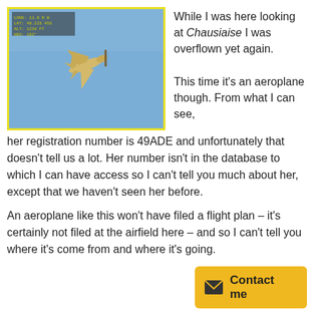[Figure (photo): A small propeller aeroplane photographed against a blue sky, with a yellow border. A small text overlay is visible in the top-left corner of the image.]
While I was here looking at Chausiaise I was overflown yet again.

This time it's an aeroplane though. From what I can see, her registration number is 49ADE and unfortunately that doesn't tell us a lot. Her number isn't in the database to which I can have access so I can't tell you much about her, except that we haven't seen her before.

An aeroplane like this won't have filed a flight plan – it's certainly not filed at the airfield here – and so I can't tell you where it's come from and where it's going.